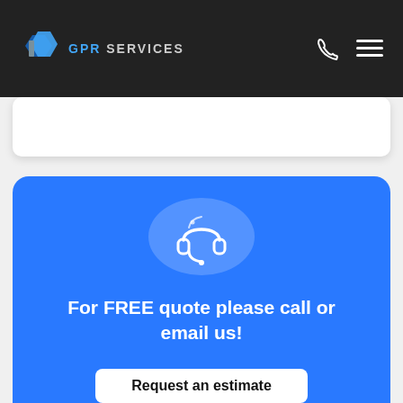[Figure (logo): GPR Services logo with blue angular bracket icon and text 'GPR SERVICES' on dark header bar, with phone icon and hamburger menu on right]
[Figure (illustration): White rounded card partially visible below the header navigation bar]
[Figure (infographic): Blue rounded rectangle call-to-action section with headset icon in a translucent circle, bold white text 'For FREE quote please call or email us!', and a white 'Request an estimate' button]
For FREE quote please call or email us!
Request an estimate